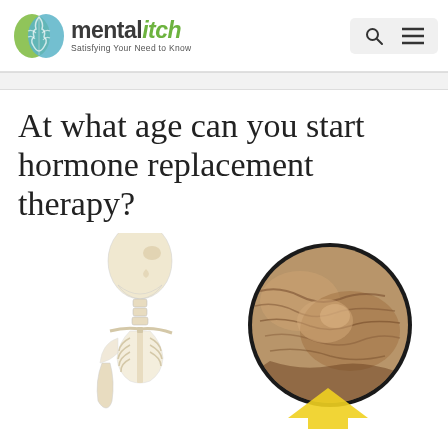[Figure (logo): mentalitch logo — green and blue brain icon with text 'mentalitch' and tagline 'Satisfying Your Need to Know']
At what age can you start hormone replacement therapy?
[Figure (illustration): Medical illustration showing a human skeleton (side profile, head and upper torso) on the left, and a circular zoomed view of aged/wrinkled skin over a joint (bone area) on the right, with a yellow arrow pointing to it. Background is white.]